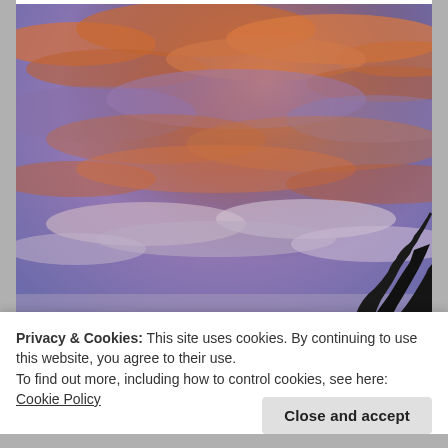[Figure (photo): A dramatic sunset sky with vivid orange and pink clouds against a purple-blue sky, with dark tree silhouettes visible at the bottom right corner.]
Privacy & Cookies: This site uses cookies. By continuing to use this website, you agree to their use.
To find out more, including how to control cookies, see here: Cookie Policy
Close and accept